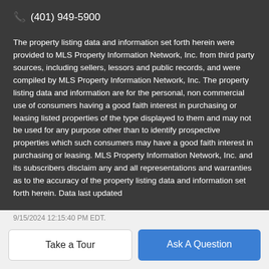☎ (401) 949-5900
The property listing data and information set forth herein were provided to MLS Property Information Network, Inc. from third party sources, including sellers, lessors and public records, and were compiled by MLS Property Information Network, Inc. The property listing data and information are for the personal, non commercial use of consumers having a good faith interest in purchasing or leasing listed properties of the type displayed to them and may not be used for any purpose other than to identify prospective properties which such consumers may have a good faith interest in purchasing or leasing. MLS Property Information Network, Inc. and its subscribers disclaim any and all representations and warranties as to the accuracy of the property listing data and information set forth herein. Data last updated
Take a Tour
Ask A Question